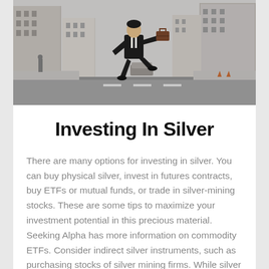[Figure (photo): Black and white / desaturated photo of a businessman in a suit jumping mid-air on a city street, holding a briefcase, with tall buildings on both sides of the street behind him.]
Investing In Silver
There are many options for investing in silver. You can buy physical silver, invest in futures contracts, buy ETFs or mutual funds, or trade in silver-mining stocks. These are some tips to maximize your investment potential in this precious material. Seeking Alpha has more information on commodity ETFs. Consider indirect silver instruments, such as purchasing stocks of silver mining firms. While silver prices and stock prices